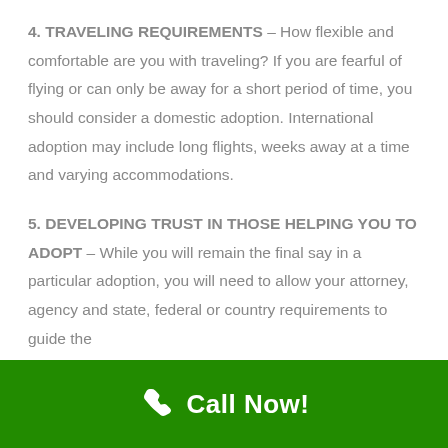4. TRAVELING REQUIREMENTS – How flexible and comfortable are you with traveling? If you are fearful of flying or can only be away for a short period of time, you should consider a domestic adoption. International adoption may include long flights, weeks away at a time and varying accommodations.
5. DEVELOPING TRUST IN THOSE HELPING YOU TO ADOPT – While you will remain the final say in a particular adoption, you will need to allow your attorney, agency and state, federal or country requirements to guide the
Call Now!